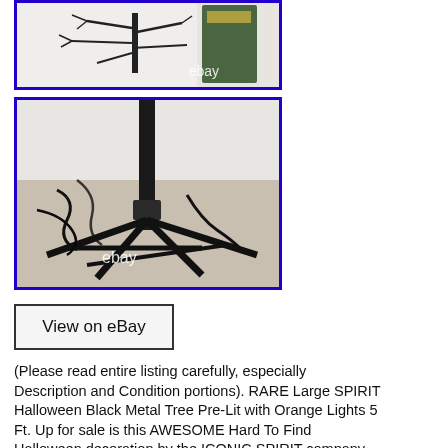[Figure (photo): Photo of a black metal Halloween tree with branches and an eBay watermark, with a green box visible on the right]
[Figure (photo): Close-up photo of the black metal tree base/stand with dark wires/cords on carpet floor, eBay watermark visible]
View on eBay
(Please read entire listing carefully, especially Description and Condition portions). RARE Large SPIRIT Halloween Black Metal Tree Pre-Lit with Orange Lights 5 Ft. Up for sale is this AWESOME Hard To Find Halloween decoration by the ICONIC SPIRIT company.